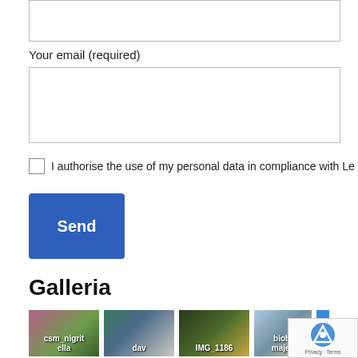[Figure (other): Top portion of a web form showing an empty text input box (partially visible at top of page)]
Your email (required)
[Figure (other): Email input text box, empty, with light gray border]
I authorise the use of my personal data in compliance with Le
[Figure (other): Send button — blue rectangle with white bold text 'Send']
Galleria
[Figure (photo): Gallery thumbnails: csm_nigritella (pink flower), dav (people at market), IMG_1186 (fruit/lemon on plant), biobl majell (outdoor scene with blue sky), and a blue tile partially visible]